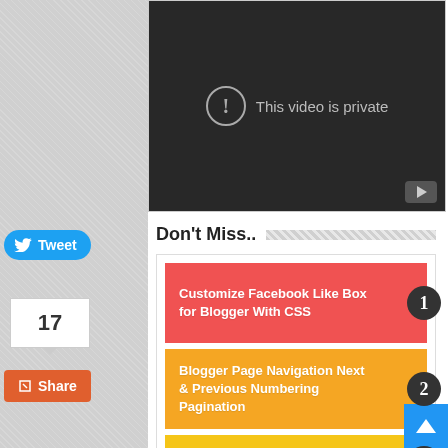[Figure (screenshot): YouTube video player showing 'This video is private' error message with exclamation icon and play button in corner]
Don't Miss..
Customize Facebook Like Box for Blogger With CSS
Blogger Page Navigation Next & Previous Numbering Pagination
Totally Free Cursors Animated
Tweet
17
Share